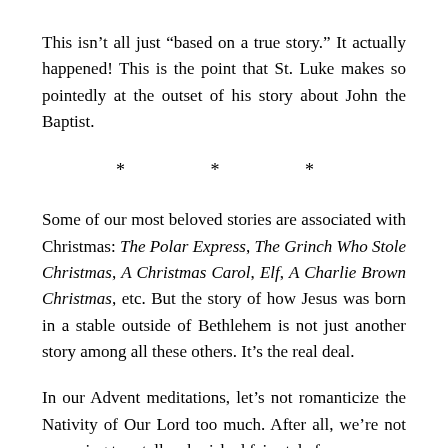This isn’t all just “based on a true story.” It actually happened! This is the point that St. Luke makes so pointedly at the outset of his story about John the Baptist.
* * *
Some of our most beloved stories are associated with Christmas: The Polar Express, The Grinch Who Stole Christmas, A Christmas Carol, Elf, A Charlie Brown Christmas, etc. But the story of how Jesus was born in a stable outside of Bethlehem is not just another story among all these others. It’s the real deal.
In our Advent meditations, let’s not romanticize the Nativity of Our Lord too much. After all, we’re not preparing to retell a cherished fairy tale from our